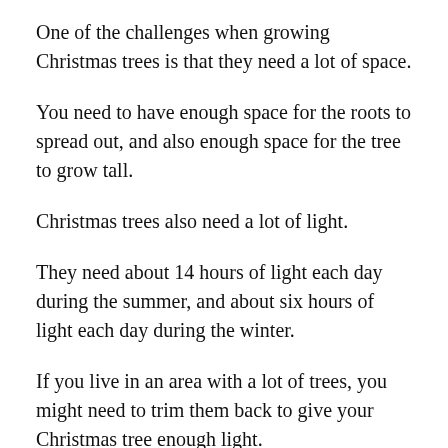One of the challenges when growing Christmas trees is that they need a lot of space.
You need to have enough space for the roots to spread out, and also enough space for the tree to grow tall.
Christmas trees also need a lot of light.
They need about 14 hours of light each day during the summer, and about six hours of light each day during the winter.
If you live in an area with a lot of trees, you might need to trim them back to give your Christmas tree enough light.